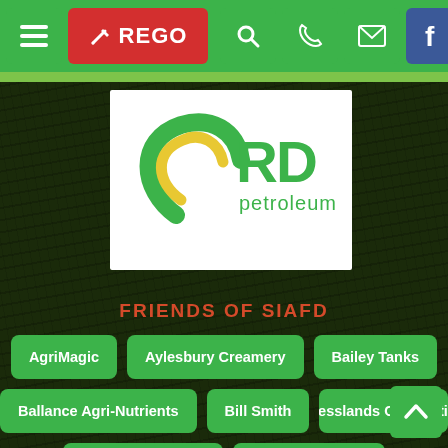[Figure (screenshot): Navigation bar with hamburger menu, REGO button, search, phone, email, and Facebook icons on green background]
[Figure (logo): RD Petroleum logo — green and yellow swirl with 'RD petroleum' text in green on white background]
FRIENDS OF SIAFD
AgriMagic
Aylesbury Creamery
Bailey Tanks
Ballance Agri-Nutrients
Bill Smith
Cresslands Contracting
Cubex Containers
DJA Engineering